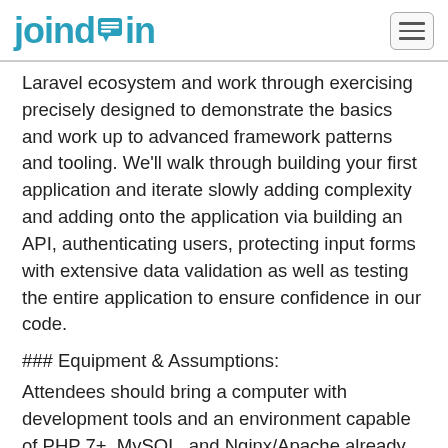joindin
Laravel ecosystem and work through exercising precisely designed to demonstrate the basics and work up to advanced framework patterns and tooling. We&#39;ll walk through building your first application and iterate slowly adding complexity and adding onto the application via building an API, authenticating users, protecting input forms with extensive data validation as well as testing the entire application to ensure confidence in our code.
### Equipment & Assumptions:
Attendees should bring a computer with development tools and an environment capable of PHP 7+, MySQL, and Nginx/Apache already installed. The project will offer built-in support for Laravel Homestead https://laravel.com/docs/homestead a Vagrant based development environment. If you wish to use Homestead please follow the installation instructions BEFORE leaving